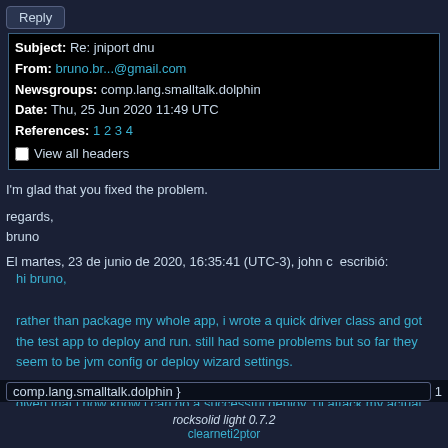Reply
| Subject: Re: jniport dnu |
| From: bruno.br...@gmail.com |
| Newsgroups: comp.lang.smalltalk.dolphin |
| Date: Thu, 25 Jun 2020 11:49 UTC |
| References: 1 2 3 4 |
| View all headers |
I'm glad that you fixed the problem.
regards,
bruno
El martes, 23 de junio de 2020, 16:35:41 (UTC-3), john c  escribió:
hi bruno,

rather than package my whole app, i wrote a quick driver class and got the test app to deploy and run. still had some problems but so far they seem to be jvm config or deploy wizard settings.

given that i now know i can do a successful deploy, i'll attack my actual application.

thanks for your offer to help.

john
Reply
comp.lang.smalltalk.dolphin
rocksolid light 0.7.2
clearneti2ptor